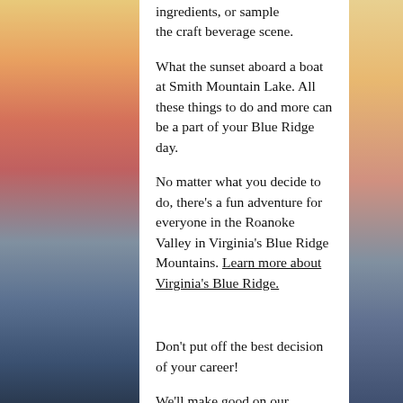ingredients, or sample the craft beverage scene.
What the sunset aboard a boat at Smith Mountain Lake. All these things to do and more can be a part of your Blue Ridge day.
No matter what you decide to do, there's a fun adventure for everyone in the Roanoke Valley in Virginia's Blue Ridge Mountains. Learn more about Virginia's Blue Ridge.
Don't put off the best decision of your career!
We'll make good on our promise of being a fun and different company by not making you drudge through an exhausting application portal.